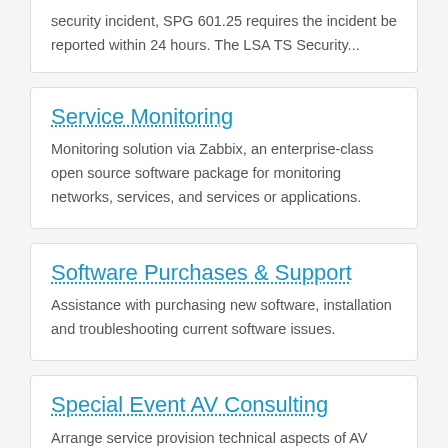security incident, SPG 601.25 requires the incident be reported within 24 hours. The LSA TS Security...
Service Monitoring
Monitoring solution via Zabbix, an enterprise-class open source software package for monitoring networks, services, and services or applications.
Software Purchases & Support
Assistance with purchasing new software, installation and troubleshooting current software issues.
Special Event AV Consulting
Arrange service provision technical aspects of AV design for presentations at events in campus event spaces.